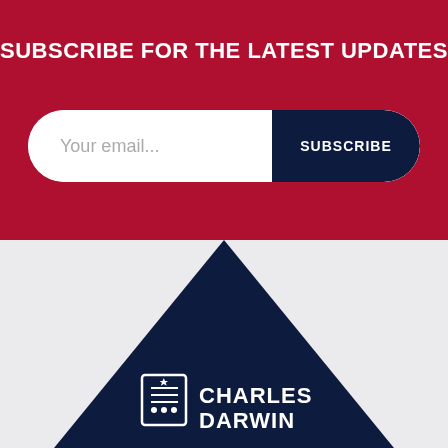SUBSCRIBE FOR THE LATEST UPDATES
[Figure (infographic): Email subscription form with white pill-shaped input field showing placeholder 'Your email...' on the left and a dark navy 'SUBSCRIBE' button on the right, set on a dark red background.]
[Figure (logo): Charles Darwin University logo — white CDU shield icon and text 'CHARLES DARWIN' on a dark navy triangle, on a light grey background.]